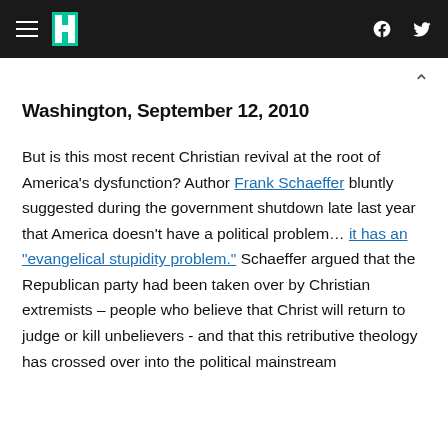HuffPost header navigation with hamburger menu, logo, Facebook and Twitter icons
Washington, September 12, 2010
But is this most recent Christian revival at the root of America's dysfunction? Author Frank Schaeffer bluntly suggested during the government shutdown late last year that America doesn't have a political problem… it has an "evangelical stupidity problem." Schaeffer argued that the Republican party had been taken over by Christian extremists – people who believe that Christ will return to judge or kill unbelievers - and that this retributive theology has crossed over into the political mainstream